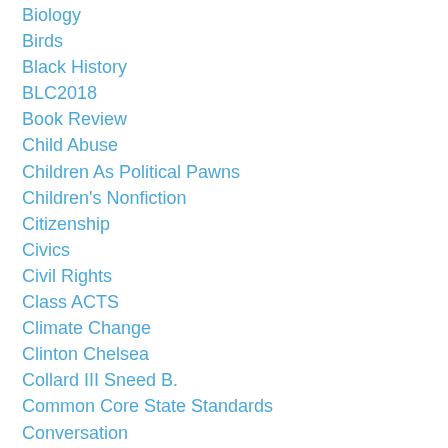Biology
Birds
Black History
BLC2018
Book Review
Child Abuse
Children As Political Pawns
Children's Nonfiction
Citizenship
Civics
Civil Rights
Class ACTS
Climate Change
Clinton Chelsea
Collard III Sneed B.
Common Core State Standards
Conversation
Coronavirus
Costaldo Nancy F.
Covid-19
Critical Thinking